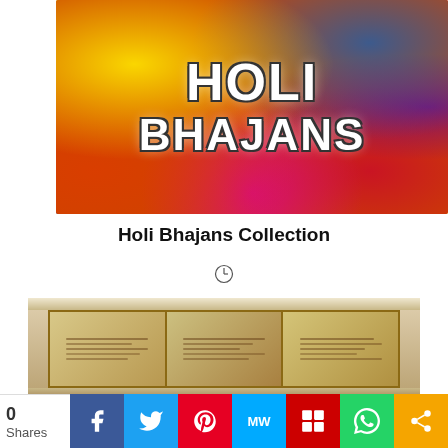[Figure (illustration): Colorful Holi Bhajans banner image with rainbow powder colors (yellow, green, blue, purple, red, pink) and large white text reading 'HOLI BHAJANS' with dark outline]
Holi Bhajans Collection
[Figure (photo): An ancient Indian manuscript or painting showing figures in panels with decorative border]
[Figure (infographic): Social sharing bar showing share count 0 and social media buttons: Facebook, Twitter, Pinterest, MeWe, Mix, WhatsApp, and share icon]